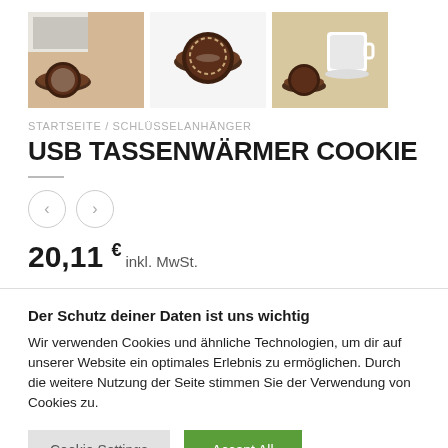[Figure (photo): Three product photos of a USB Tassenwärmer Cookie coaster shown on a laptop, alone on white background, and with a coffee cup]
STARTSEITE / SCHLÜSSELANHÄNGER
USB TASSENWÄRMER COOKIE
20,11 € inkl. MwSt.
Der Schutz deiner Daten ist uns wichtig
Wir verwenden Cookies und ähnliche Technologien, um dir auf unserer Website ein optimales Erlebnis zu ermöglichen. Durch die weitere Nutzung der Seite stimmen Sie der Verwendung von Cookies zu.
Cookie Settings  Accept All